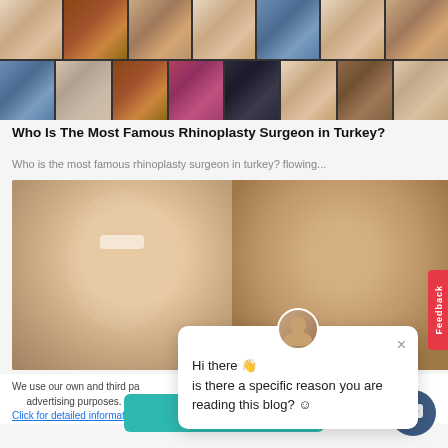[Figure (photo): Grid of portrait photos of women, showing before/after rhinoplasty results]
Who Is The Most Famous Rhinoplasty Surgeon in Turkey?
Who is the most famous rhinoplasty surgeon in turkey? flowing...
[Figure (photo): Before and after rhinoplasty comparison photos of a woman]
We use our own and third party cookies to provide you with a better browsing experience and for advertising purposes. By continuing to browse our website, you agree to our use of cookies. Click for detailed information
OK
Hi there 👋 is there a specific reason you are reading this blog? ☺